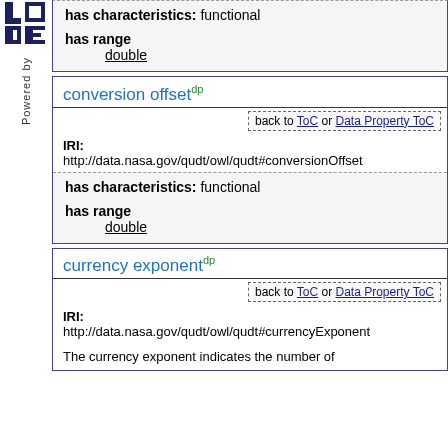[Figure (logo): LODE logo - stylized letters L, O, D, E in dark blue]
Powered by
has characteristics: functional
has range
    double
conversion offset dp
back to ToC or Data Property ToC
IRI:
http://data.nasa.gov/qudt/owl/qudt#conversionOffset
has characteristics: functional
has range
    double
currency exponent dp
back to ToC or Data Property ToC
IRI:
http://data.nasa.gov/qudt/owl/qudt#currencyExponent
The currency exponent indicates the number of